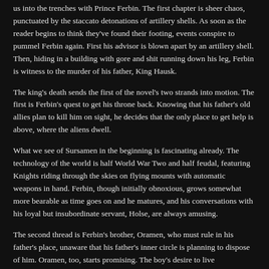us into the trenches with Prince Ferbin. The first chapter is sheer chaos, punctuated by the staccato detonations of artillery shells. As soon as the reader begins to think they've found their footing, events conspire to pummel Ferbin again. First his advisor is blown apart by an artillery shell. Then, hiding in a building with gore and shit running down his leg, Ferbin is witness to the murder of his father, King Hausk.
The king's death sends the first of the novel's two strands into motion. The first is Ferbin's quest to get his throne back. Knowing that his father's old allies plan to kill him on sight, he decides that the only place to get help is above, where the aliens dwell.
What we see of Sursamen in the beginning is fascinating already. The technology of the world is half World War Two and half feudal, featuring Knights riding through the skies on flying mounts with automatic weapons in hand. Ferbin, though initially obnoxious, grows somewhat more bearable as time goes on and he matures, and his conversations with his loyal but insubordinate servant, Holse, are always amusing.
The second thread is Ferbin's brother, Oramen, who must rule in his father's place, unaware that his father's inner circle is planning to dispose of him. Oramen, too, starts promising. The boy's desire to live